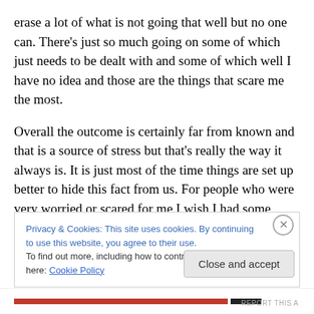erase a lot of what is not going that well but no one can. There's just so much going on some of which just needs to be dealt with and some of which well I have no idea and those are the things that scare me the most.
Overall the outcome is certainly far from known and that is a source of stress but that's really the way it always is. It is just most of the time things are set up better to hide this fact from us. For people who were very worried or scared for me I wish I had some great comforting thing to say but I don't know how things will go. I hoped given we know the
Privacy & Cookies: This site uses cookies. By continuing to use this website, you agree to their use.
To find out more, including how to control cookies, see here: Cookie Policy
Close and accept